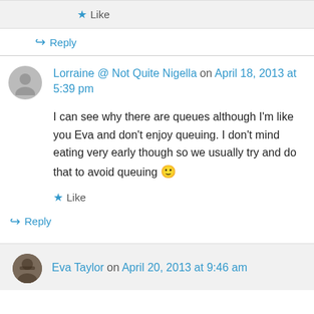Like
↪ Reply
Lorraine @ Not Quite Nigella on April 18, 2013 at 5:39 pm
I can see why there are queues although I'm like you Eva and don't enjoy queuing. I don't mind eating very early though so we usually try and do that to avoid queuing 🙂
Like
↪ Reply
Eva Taylor on April 20, 2013 at 9:46 am